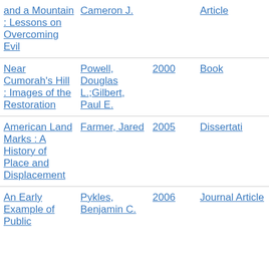| Title | Author | Year | Type |
| --- | --- | --- | --- |
| and a Mountain : Lessons on Overcoming Evil | Cameron J. |  | Article |
| Near Cumorah's Hill : Images of the Restoration | Powell, Douglas L.;Gilbert, Paul E. | 2000 | Book |
| American Land Marks : A History of Place and Displacement | Farmer, Jared | 2005 | Dissertation |
| An Early Example of Public | Pykles, Benjamin C. | 2006 | Journal Article |